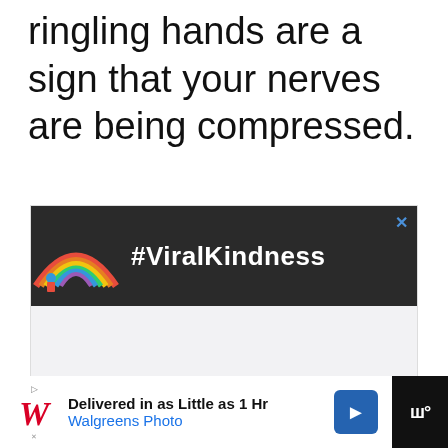ringling hands are a sign that your nerves are being compressed.
[Figure (screenshot): Advertisement banner showing a rainbow drawing on dark background with text #ViralKindness and a close button (X) in blue]
[Figure (screenshot): Bottom advertisement bar: Walgreens Photo ad - 'Delivered in as Little as 1 Hr' with Walgreens Photo branding, navigation arrow icon, and Woop app icon]